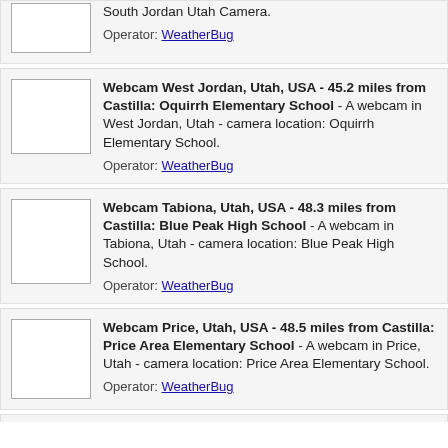[Figure (photo): Partial webcam thumbnail for South Jordan Utah Camera]
South Jordan Utah Camera.
Operator: WeatherBug
[Figure (photo): Webcam thumbnail for West Jordan Oquirrh Elementary School]
Webcam West Jordan, Utah, USA - 45.2 miles from Castilla: Oquirrh Elementary School - A webcam in West Jordan, Utah - camera location: Oquirrh Elementary School.
Operator: WeatherBug
[Figure (photo): Webcam thumbnail for Tabiona Blue Peak High School]
Webcam Tabiona, Utah, USA - 48.3 miles from Castilla: Blue Peak High School - A webcam in Tabiona, Utah - camera location: Blue Peak High School.
Operator: WeatherBug
[Figure (photo): Webcam thumbnail for Price Area Elementary School]
Webcam Price, Utah, USA - 48.5 miles from Castilla: Price Area Elementary School - A webcam in Price, Utah - camera location: Price Area Elementary School.
Operator: WeatherBug